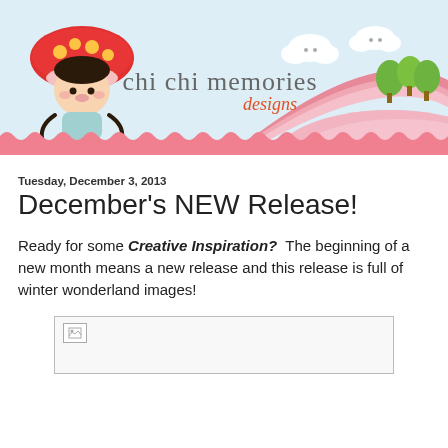[Figure (illustration): Chi Chi Memories Designs blog header banner with kawaii girl character wearing mushroom hat, clouds, green trees, pink rainbow/hills, ric-rac border, and blog title text]
Tuesday, December 3, 2013
December's NEW Release!
Ready for some Creative Inspiration?  The beginning of a new month means a new release and this release is full of winter wonderland images!
[Figure (photo): Broken/missing image placeholder with small image icon in top-left corner]